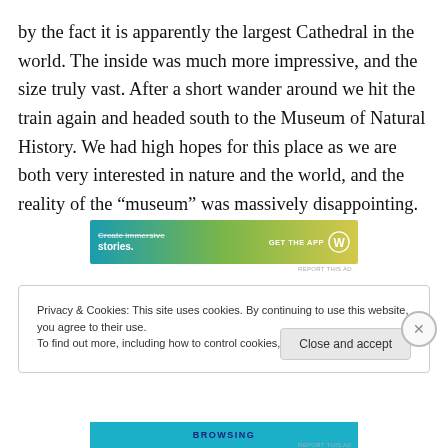by the fact it is apparently the largest Cathedral in the world. The inside was much more impressive, and the size truly vast. After a short wander around we hit the train again and headed south to the Museum of Natural History. We had high hopes for this place as we are both very interested in nature and the world, and the reality of the “museum” was massively disappointing.
[Figure (other): Advertisement banner: gradient background (teal to green-yellow), text 'Create immersive stories.' on left with 'GET THE APP' and WordPress logo on right]
Privacy & Cookies: This site uses cookies. By continuing to use this website, you agree to their use.
To find out more, including how to control cookies, see here: Cookie Policy
Close and accept